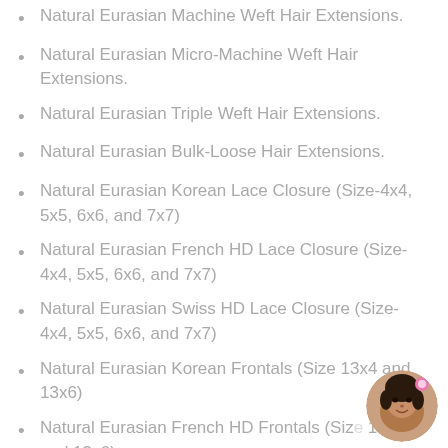Natural Eurasian Machine Weft Hair Extensions.
Natural Eurasian Micro-Machine Weft Hair Extensions.
Natural Eurasian Triple Weft Hair Extensions.
Natural Eurasian Bulk-Loose Hair Extensions.
Natural Eurasian Korean Lace Closure (Size-4x4, 5x5, 6x6, and 7x7)
Natural Eurasian French HD Lace Closure (Size-4x4, 5x5, 6x6, and 7x7)
Natural Eurasian Swiss HD Lace Closure (Size-4x4, 5x5, 6x6, and 7x7)
Natural Eurasian Korean Frontals (Size 13x4 and 13x6)
Natural Eurasian French HD Frontals (Size 13x4 and 13x6)
[Figure (photo): Circular avatar photo of a person in the bottom-right corner]